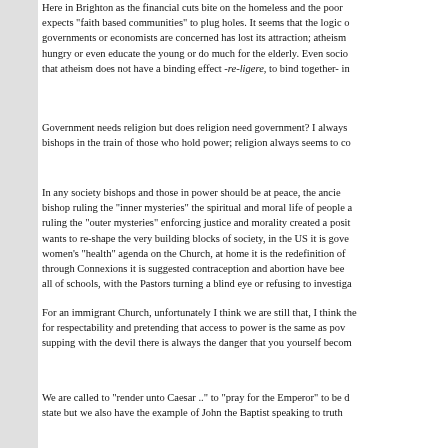Here in Brighton as the financial cuts bite on the homeless and the poor expects "faith based communities" to plug holes. It seems that the logic of governments or economists are concerned has lost its attraction; atheism hungry or even educate the young or do much for the elderly. Even socio that atheism does not have a binding effect -re-ligere, to bind together- in
Government needs religion but does religion need government? I always bishops in the train of those who hold power; religion always seems to co
In any society bishops and those in power should be at peace, the ancie bishop ruling the "inner mysteries" the spiritual and moral life of people a ruling the "outer mysteries" enforcing justice and morality created a posit wants to re-shape the very building blocks of society, in the US it is gove women's "health" agenda on the Church, at home it is the redefinition of through Connexions it is suggested contraception and abortion have bee all of schools, with the Pastors turning a blind eye or refusing to investiga
For an immigrant Church, unfortunately I think we are still that, I think the for respectability and pretending that access to power is the same as pov supping with the devil there is always the danger that you yourself becom
We are called to "render unto Caesar .." to "pray for the Emperor" to be d state but we also have the example of John the Baptist speaking to truth